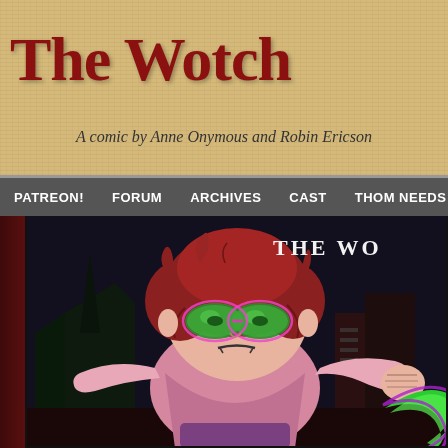The Wotch
A comic by Anne Onymous and Robin Ericson
PATREON!   FORUM   ARCHIVES   CAST   THOM NEEDS SOME H...
[Figure (illustration): Webcomic page showing a cartoon girl with red hair wearing glowing green goggles/mask, dressed in a pink top and purple pants, holding a glowing green magical object. Dark nighttime background with buildings. 'THE WO...' title text visible in upper right of panel.]